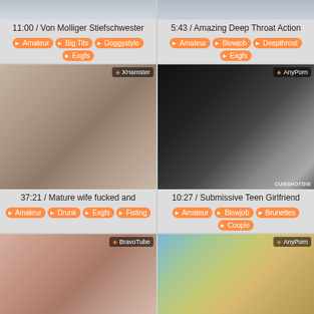[Figure (screenshot): Top-left video thumbnail, partial image of people]
11:00 / Von Molliger Stiefschwester
Amateur, Big Tits, Doggystyle, Exgfs
[Figure (screenshot): Top-right video thumbnail]
5:43 / Amazing Deep Throat Action
Amateur, Blowjob, Deepthroat, Exgfs
[Figure (screenshot): Middle-left video thumbnail, XHamster source]
37:21 / Mature wife fucked and
Amateur, Drunk, Exgfs, Fisting
[Figure (screenshot): Middle-right video thumbnail, AnyPorn source]
10:27 / Submissive Teen Girlfriend
Amateur, Blowjob, Brunettes, Couple
[Figure (screenshot): Bottom-left video thumbnail, BravoTube source]
[Figure (screenshot): Bottom-right video thumbnail, AnyPorn source]